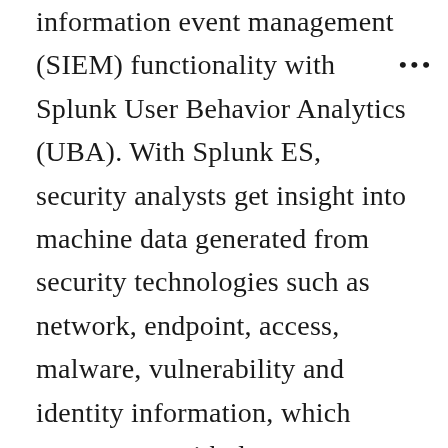information event management (SIEM) functionality with Splunk User Behavior Analytics (UBA). With Splunk ES, security analysts get insight into machine data generated from security technologies such as network, endpoint, access, malware, vulnerability and identity information, which arms teams with deep investigative and rapid response capabilities. This combined platform provides security analysts with a comprehensive solution that sits at the heart of the Security Operations Center (SOC) to